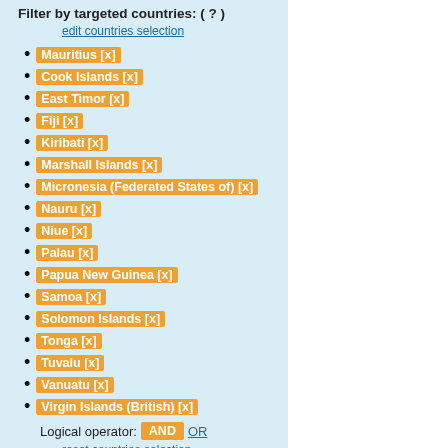Filter by targeted countries: ( ? )
edit countries selection
Mauritius [x]
Cook Islands [x]
East Timor [x]
Fiji [x]
Kiribati [x]
Marshall Islands [x]
Micronesia (Federated States of) [x]
Nauru [x]
Niue [x]
Palau [x]
Papua New Guinea [x]
Samoa [x]
Solomon Islands [x]
Tonga [x]
Tuvalu [x]
Vanuatu [x]
Virgin Islands (British) [x]
Logical operator: AND OR
reset countries selection
Filter by work programme: ( ? )
ERC (0)
FET (0)
MC (0)
RIS (0)
LEIT (0)